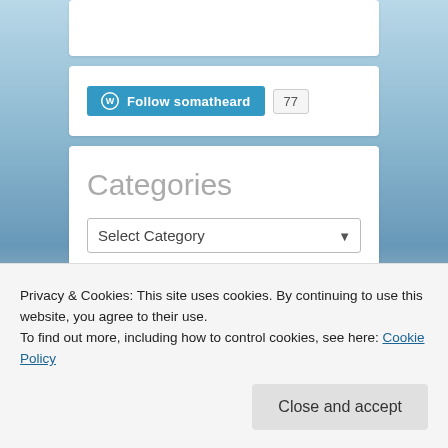[Figure (screenshot): A WordPress 'Follow somatheard' button (teal/blue) with a follower count badge showing '77']
Categories
[Figure (screenshot): A 'Select Category' dropdown selector]
Privacy & Cookies: This site uses cookies. By continuing to use this website, you agree to their use.
To find out more, including how to control cookies, see here: Cookie Policy
Close and accept